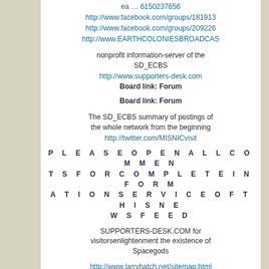ea … 6150237656
http://www.facebook.com/groups/181913
http://www.facebook.com/groups/209226
http://www.EARTHCOLONIESBROADCAS
nonprofit information-server of the SD_ECBS
http://www.supporters-desk.com
Board link: Forum
Board link: Forum
The SD_ECBS summary of postings of the whole network from the beginning
http://twitter.com/MISNICvisit
P L E A S E O P E N A L L C O M M E N T S F O R C O M P L E T E I N F O R M A T I O N S E R V I C E O F T H I S N E W S F E E D
SUPPORTERS-DESK.COM for visitorsenlightenment the existence of Spacegods
http://www.larryhatch.net/sitemap.html
http://ufos.nationalarchives.gov.uk
http://en.wikipedia.org/wiki/List_of_UFO_
http://www.daeniken.com
http://www.paradigmsymposium.com/
http://returnofthespacegoods.wordpress.